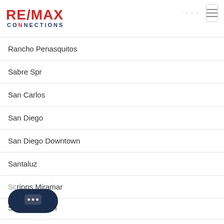[Figure (logo): RE/MAX Connections logo — RE/MAX in red bold text with a slash, CONNECTIONS in dark blue below]
Rancho Penasquitos
Sabre Spr
San Carlos
San Diego
San Diego Downtown
Santaluz
Scripps Miramar
Scripps Ranch